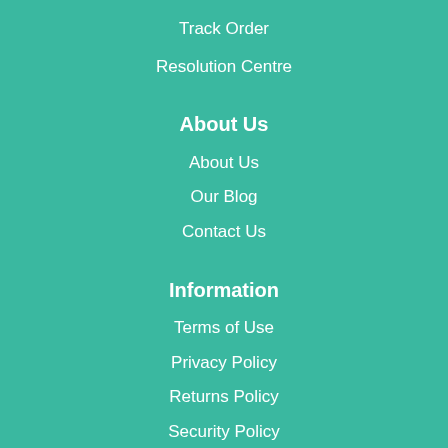Track Order
Resolution Centre
About Us
About Us
Our Blog
Contact Us
Information
Terms of Use
Privacy Policy
Returns Policy
Security Policy